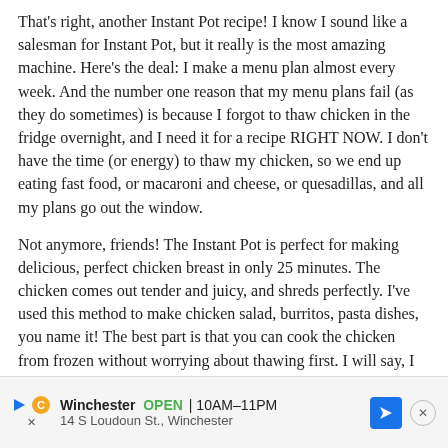That's right, another Instant Pot recipe! I know I sound like a salesman for Instant Pot, but it really is the most amazing machine. Here's the deal: I make a menu plan almost every week. And the number one reason that my menu plans fail (as they do sometimes) is because I forgot to thaw chicken in the fridge overnight, and I need it for a recipe RIGHT NOW. I don't have the time (or energy) to thaw my chicken, so we end up eating fast food, or macaroni and cheese, or quesadillas, and all my plans go out the window.
Not anymore, friends! The Instant Pot is perfect for making delicious, perfect chicken breast in only 25 minutes. The chicken comes out tender and juicy, and shreds perfectly. I've used this method to make chicken salad, burritos, pasta dishes, you name it! The best part is that you can cook the chicken from frozen without worrying about thawing first. I will say, I haven't tried it with bone-in chicken, and I'm sure the time would have to be adjusted. But 25 minutes works perfectly for frozen boneless skinless chicken. Menu plan crises averted!
Winchester OPEN 10AM–11PM 14 S Loudoun St., Winchester